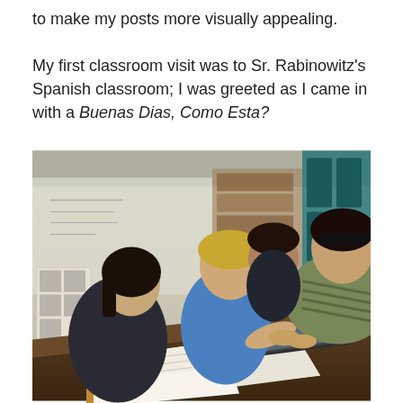to make my posts more visually appealing.

My first classroom visit was to Sr. Rabinowitz's Spanish classroom; I was greeted as I came in with a Buenas Dias, Como Esta?
[Figure (photo): A classroom scene showing a teacher leaning over a table to assist students. Two students are visible in the foreground — a girl with dark hair and a boy in a blue polo shirt — looking at a laptop on the table. Open textbooks are spread on the table. Another student and the teacher in a striped shirt are visible in the background. Educational posters line the classroom walls.]